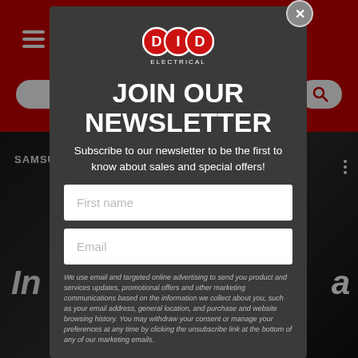[Figure (screenshot): DID Electrical website newsletter signup modal overlay on top of an e-commerce product page with red header, hamburger menu, search bar, and Samsung product image in background]
JOIN OUR NEWSLETTER
Subscribe to our newsletter to be the first to know about sales and special offers!
First name
Email
We use email and targeted online advertising to send you product and services updates, promotional offers and other marketing communications based on the information we collect about you, such as your email address, general location, and purchase and website browsing history. You may withdraw your consent or manage your preferences at any time by clicking the unsubscribe link at the bottom of any of our marketing emails.